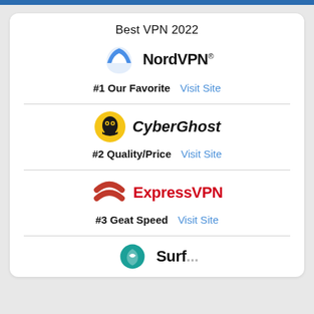Best VPN 2022
[Figure (logo): NordVPN logo - blue mountain/shield arc icon with NordVPN text]
#1 Our Favorite   Visit Site
[Figure (logo): CyberGhost logo - yellow circle with ghost icon and CyberGhost italic text]
#2 Quality/Price   Visit Site
[Figure (logo): ExpressVPN logo - red double-arc/shield icon with ExpressVPN red text]
#3 Geat Speed   Visit Site
[Figure (logo): Surfshark logo - partial teal/green icon visible at bottom]